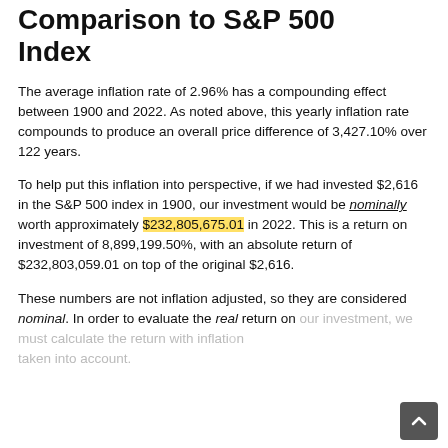Comparison to S&P 500 Index
The average inflation rate of 2.96% has a compounding effect between 1900 and 2022. As noted above, this yearly inflation rate compounds to produce an overall price difference of 3,427.10% over 122 years.
To help put this inflation into perspective, if we had invested $2,616 in the S&P 500 index in 1900, our investment would be nominally worth approximately $232,805,675.01 in 2022. This is a return on investment of 8,899,199.50%, with an absolute return of $232,803,059.01 on top of the original $2,616.
These numbers are not inflation adjusted, so they are considered nominal. In order to evaluate the real return on our investment, we must calculate the return with inflation taken into account.